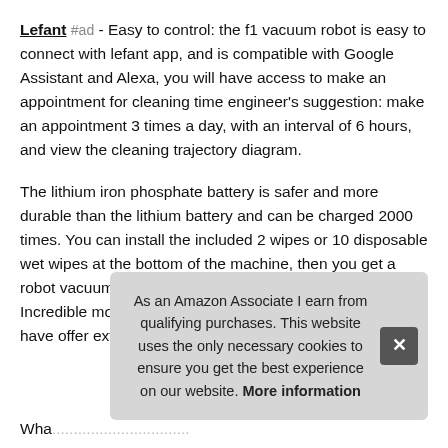Lefant #ad - Easy to control: the f1 vacuum robot is easy to connect with lefant app, and is compatible with Google Assistant and Alexa, you will have access to make an appointment for cleaning time engineer's suggestion: make an appointment 3 times a day, with an interval of 6 hours, and view the cleaning trajectory diagram.
The lithium iron phosphate battery is safer and more durable than the lithium battery and can be charged 2000 times. You can install the included 2 wipes or 10 disposable wet wipes at the bottom of the machine, then you get a robot vacuum with a mopping function without water tank. Incredible mopping function: for your convenience, we have offer extra wipes for you
As an Amazon Associate I earn from qualifying purchases. This website uses the only necessary cookies to ensure you get the best experience on our website. More information
Wha